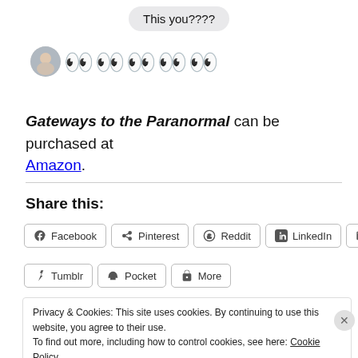[Figure (screenshot): Chat bubble saying 'This you????' followed by an avatar and eyes emoji row]
Gateways to the Paranormal can be purchased at Amazon.
Share this:
Facebook Pinterest Reddit LinkedIn Email Tumblr Pocket More (share buttons)
Privacy & Cookies: This site uses cookies. By continuing to use this website, you agree to their use. To find out more, including how to control cookies, see here: Cookie Policy
Close and accept